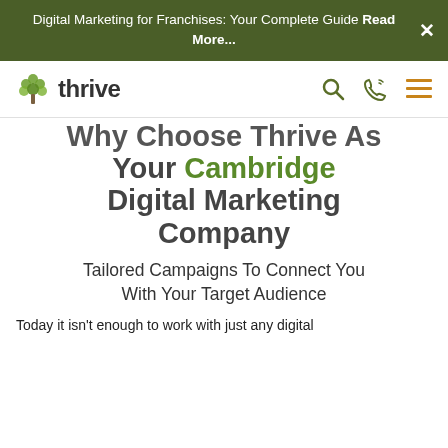Digital Marketing for Franchises: Your Complete Guide Read More...
[Figure (logo): Thrive Internet Marketing Agency logo with green tree icon and bold 'thrive' text]
Why Choose Thrive As Your Cambridge Digital Marketing Company
Tailored Campaigns To Connect You With Your Target Audience
Today it isn't enough to work with just any digital